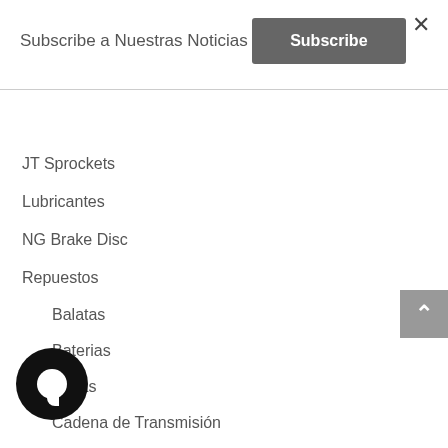Subscribe a Nuestras Noticias
Subscribe
JT Sprockets
Lubricantes
NG Brake Disc
Repuestos
Balatas
Baterias
Bujías
Cadena de Transmisión
atalinas
scos de freno
Filtros de aceite